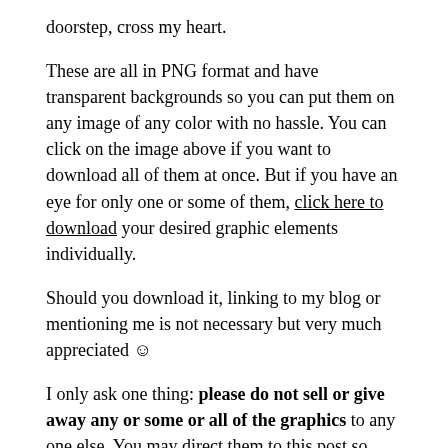doorstep, cross my heart.
These are all in PNG format and have transparent backgrounds so you can put them on any image of any color with no hassle. You can click on the image above if you want to download all of them at once. But if you have an eye for only one or some of them, click here to download your desired graphic elements individually.
Should you download it, linking to my blog or mentioning me is not necessary but very much appreciated ☺
I only ask one thing: please do not sell or give away any or some or all of the graphics to any one else. You may direct them to this post so they can download their own copy and everybody's happy, right? Right!